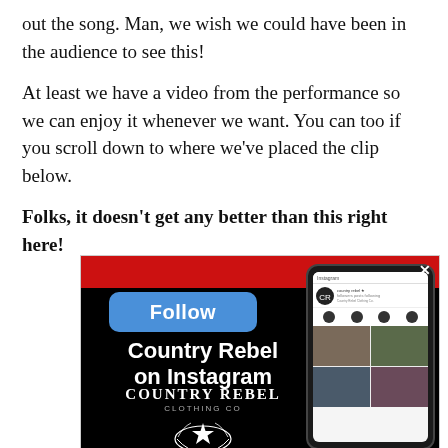out the song. Man, we wish we could have been in the audience to see this!
At least we have a video from the performance so we can enjoy it whenever we want. You can too if you scroll down to where we've placed the clip below.
Folks, it doesn't get any better than this right here!
[Figure (advertisement): Country Rebel on Instagram advertisement banner with a Follow button, Country Rebel Clothing Co logo with star emblem, and a phone mockup showing an Instagram profile grid.]